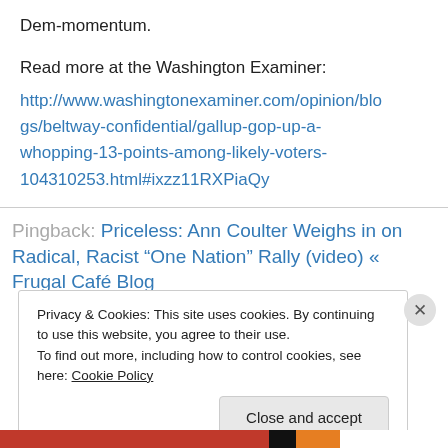Dem-momentum.
Read more at the Washington Examiner:
http://www.washingtonexaminer.com/opinion/blogs/beltway-confidential/gallup-gop-up-a-whopping-13-points-among-likely-voters-104310253.html#ixzz11RXPiaQy
Pingback: Priceless: Ann Coulter Weighs in on Radical, Racist “One Nation” Rally (video) « Frugal Café Blog
Privacy & Cookies: This site uses cookies. By continuing to use this website, you agree to their use.
To find out more, including how to control cookies, see here: Cookie Policy